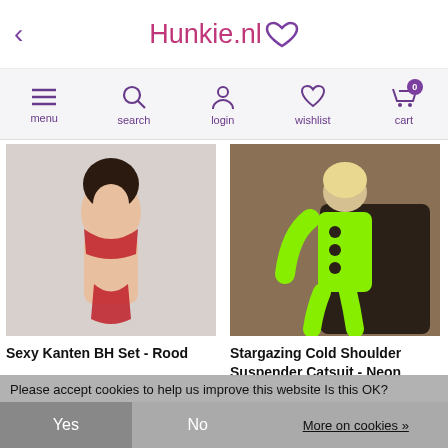Hunkie.nl
[Figure (screenshot): Navigation bar with icons: menu (hamburger), search (magnifier), login (person), wishlist (heart), cart (shopping cart with badge showing 0)]
[Figure (photo): Woman in red lace bra set lingerie on white background]
Sexy Kanten BH Set - Rood
€ 29,80
✓ In Stock
[Figure (photo): Woman in neon green cold shoulder suspender catsuit sitting in black leather chair]
Stargazing Cold Shoulder Suspender Catsuit - Neon Green
€ 26,-
✓ In Stock
Please accept cookies to help us improve this website Is this OK?